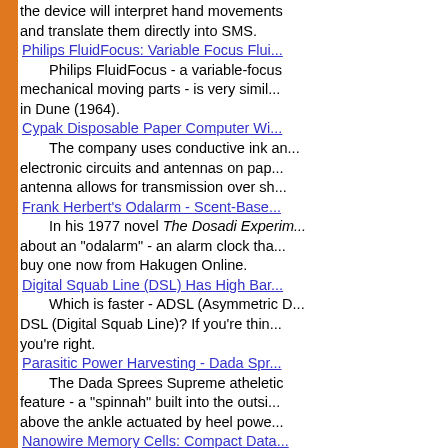the device will interpret hand movements and translate them directly into SMS.
Philips FluidFocus: Variable Focus Flui...
Philips FluidFocus - a variable-focus mechanical moving parts - is very simil... in Dune (1964).
Cypak Disposable Paper Computer Wi...
The company uses conductive ink an... electronic circuits and antennas on pap... antenna allows for transmission over sh...
Frank Herbert's Odalarm - Scent-Base...
In his 1977 novel The Dosadi Experim... about an "odalarm" - an alarm clock tha... buy one now from Hakugen Online.
Digital Squab Line (DSL) Has High Bar...
Which is faster - ADSL (Asymmetric D... DSL (Digital Squab Line)? If you're thin... you're right.
Parasitic Power Harvesting - Dada Spr...
The Dada Sprees Supreme atheletic feature - a "spinnah" built into the outsi... above the ankle actuated by heel powe...
Nanowire Memory Cells: Compact Data...
Is it possible to achieve data storage square centimeter? Scientists at USC a... Research Center think so - with nanow...
Cloned Cats Have 9+n Lives
Genetic Savings and Clone can fix yo... cat for just $50,000. Better hurry; work...
Global Water Crisis
An excellent article from The Scientis...